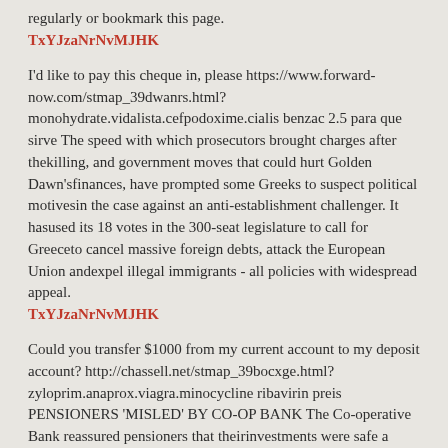regularly or bookmark this page.
TxYJzaNrNvMJHK
I'd like to pay this cheque in, please https://www.forward-now.com/stmap_39dwanrs.html?monohydrate.vidalista.cefpodoxime.cialis benzac 2.5 para que sirve The speed with which prosecutors brought charges after thekilling, and government moves that could hurt Golden Dawn’sfinances, have prompted some Greeks to suspect political motivesin the case against an anti-establishment challenger. It hasused its 18 votes in the 300-seat legislature to call for Greeceto cancel massive foreign debts, attack the European Union andexpel illegal immigrants - all policies with widespread appeal.
TxYJzaNrNvMJHK
Could you transfer $1000 from my current account to my deposit account? http://chassell.net/stmap_39bocxge.html?zyloprim.anaprox.viagra.minocycline ribavirin preis PENSIONERS 'MISLED' BY CO-OP BANK The Co-operative Bank reassured pensioners that theirinvestments were safe a month before announcing plans to slashtheir savings as part of a last-ditch bail-out.
TxYJzaNrNvMJHK